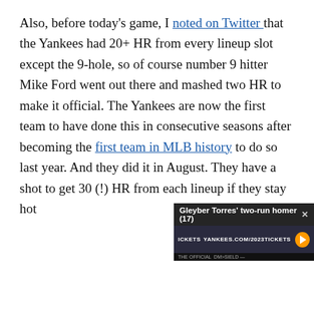Also, before today's game, I noted on Twitter that the Yankees had 20+ HR from every lineup slot except the 9-hole, so of course number 9 hitter Mike Ford went out there and mashed two HR to make it official. The Yankees are now the first team to have done this in consecutive seasons after becoming the first team in MLB history to do so last year. And they did it in August. They have a shot to get 30 (!) HR from each lineup if they stay hot
[Figure (screenshot): Video popup overlay showing 'Gleyber Torres' two-run homer (17)' with Yankees tickets advertisement banner]
[Figure (infographic): Infolinks ad bar with makeup/beauty advertisement strip showing ULTA beauty brand and SHOP NOW call to action]